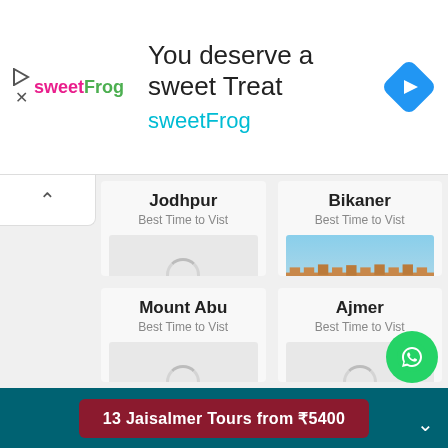[Figure (screenshot): SweetFrog advertisement banner with logo, tagline 'You deserve a sweet Treat sweetFrog', and a blue diamond navigation arrow icon]
[Figure (screenshot): Travel website UI showing city cards grid: Jodhpur, Bikaner (with fort photo), Mount Abu, Ajmer - each with 'Best Time to Vist' subtitle and loading spinner or image]
13 Jaisalmer Tours from ₹5400